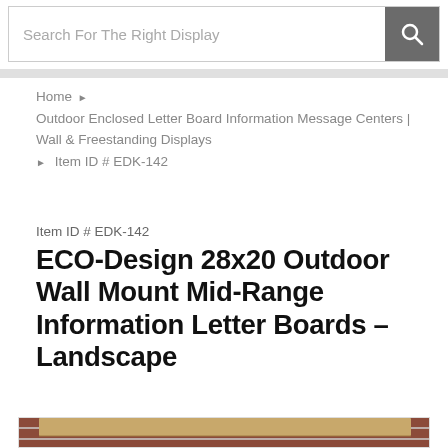Search For The Right Display
Home ▶ Outdoor Enclosed Letter Board Information Message Centers | Wall & Freestanding Displays ▶ Item ID # EDK-142
Item ID # EDK-142
ECO-Design 28x20 Outdoor Wall Mount Mid-Range Information Letter Boards – Landscape
[Figure (photo): Photo of a wooden outdoor wall mount letter board (ECO-Design 28x20), shown mounted on a brick wall. The board has a tan/natural wood frame with a peaked roof overhang, and a dark letter board panel visible below.]